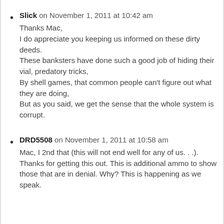Slick on November 1, 2011 at 10:42 am
Thanks Mac,
I do appreciate you keeping us informed on these dirty deeds.
These banksters have done such a good job of hiding their vial, predatory tricks,
By shell games, that common people can’t figure out what they are doing,
But as you said, we get the sense that the whole system is corrupt.
DRD5508 on November 1, 2011 at 10:58 am
Mac, I 2nd that (this will not end well for any of us. . .).
Thanks for getting this out. This is additional ammo to show those that are in denial. Why? This is happening as we speak.